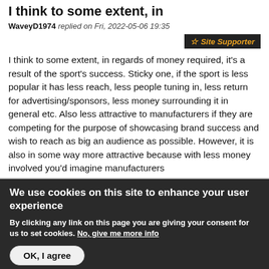I think to some extent, in
WaveyD1974 replied on Fri, 2022-05-06 19:35
☆ Site Supporter
I think to some extent, in regards of money required, it's a result of the sport's success. Sticky one, if the sport is less popular it has less reach, less people tuning in, less return for advertising/sponsors, less money surrounding it in general etc. Also less attractive to manufacturers if they are competing for the purpose of showcasing brand success and wish to reach as big an audience as possible. However, it is also in some way more attractive because with less money involved you'd imagine manufacturers
We use cookies on this site to enhance your user experience
By clicking any link on this page you are giving your consent for us to set cookies. No, give me more info
OK, I agree